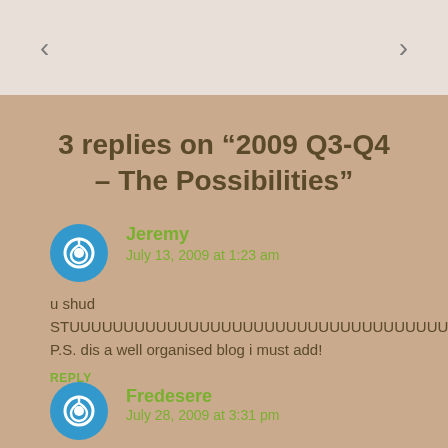< >
3 replies on “2009 Q3-Q4 – The Possibilities”
Jeremy
July 13, 2009 at 1:23 am
u shud
STUUUUUUUUUUUUUUUUUUUUUUUUUUUUUUUUUUUUUUUDY!
P.S. dis a well organised blog i must add!
REPLY
Fredesere
July 28, 2009 at 3:31 pm